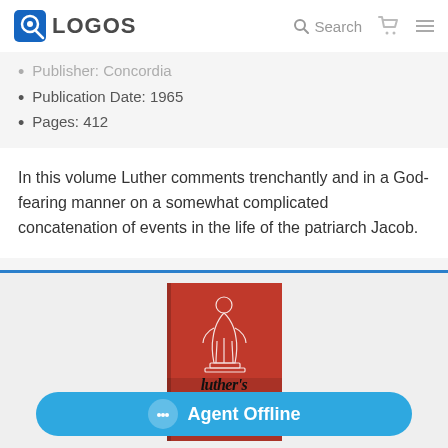LOGOS — Search
Publisher: Concordia
Publication Date: 1965
Pages: 412
In this volume Luther comments trenchantly and in a God-fearing manner on a somewhat complicated concatenation of events in the life of the patriarch Jacob.
[Figure (photo): Book cover of Luther's Works — red cover with a white figure illustration and bold title text 'luther's works']
Agent Offline